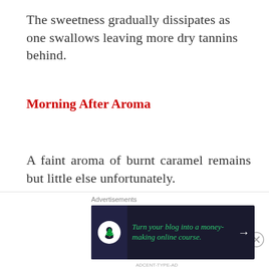The sweetness gradually dissipates as one swallows leaving more dry tannins behind.
Morning After Aroma
A faint aroma of burnt caramel remains but little else unfortunately.
TOTAL 80/100
[Figure (other): Advertisement banner: 'Turn your blog into a money-making online course.' with arrow button on dark background, with close button (X)]